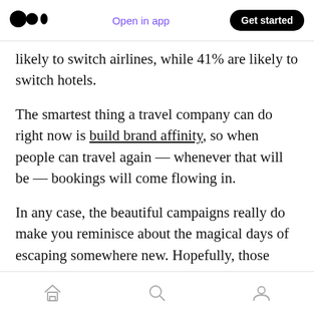Open in app | Get started
likely to switch airlines, while 41% are likely to switch hotels.
The smartest thing a travel company can do right now is build brand affinity, so when people can travel again — whenever that will be — bookings will come flowing in.
In any case, the beautiful campaigns really do make you reminisce about the magical days of escaping somewhere new. Hopefully, those days will come sooner than we all think!
Home | Search | Profile